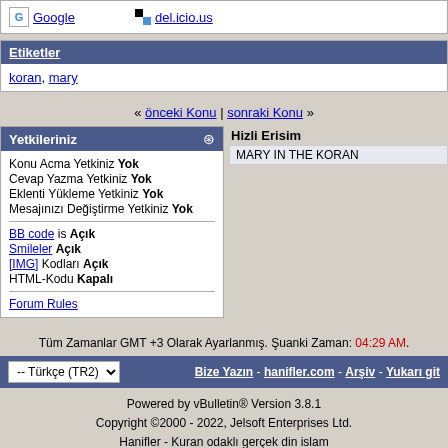Google | del.icio.us
Etiketler
koran, mary
« önceki Konu | sonraki Konu »
Yetkileriniz
Konu Acma Yetkiniz Yok
Cevap Yazma Yetkiniz Yok
Eklenti Yükleme Yetkiniz Yok
Mesajınızı Değiştirme Yetkiniz Yok
BB code is Açık
Smileler Açık
[IMG] Kodları Açık
HTML-Kodu Kapalı
Forum Rules
Hizli Erisim
MARY IN THE KORAN
Tüm Zamanlar GMT +3 Olarak Ayarlanmış. Şuanki Zaman: 04:29 AM.
-- Türkçe (TR2) | Bize Yazın - hanifler.com - Arşiv - Yukarı git
Powered by vBulletin® Version 3.8.1
Copyright ©2000 - 2022, Jelsoft Enterprises Ltd.
Hanifler - Kuran odaklı gerçek din islam